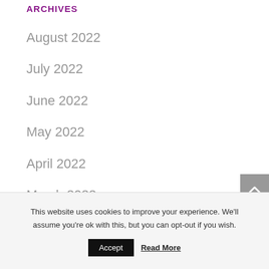ARCHIVES
August 2022
July 2022
June 2022
May 2022
April 2022
March 2022
This website uses cookies to improve your experience. We'll assume you're ok with this, but you can opt-out if you wish.
Accept   Read More